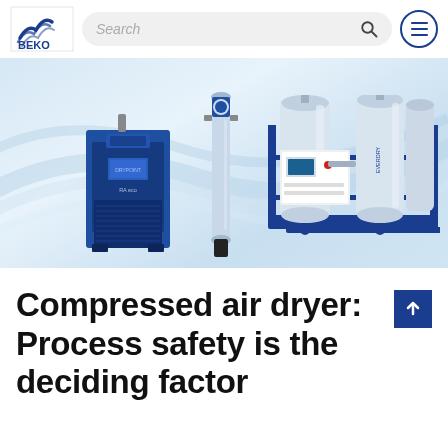BEKO Technologies — Search bar and navigation menu
[Figure (photo): Hero image showing BEKO compressed air dryer products: a blue refrigeration dryer unit on the left, a tall silver cylindrical filter in the center, and a large industrial adsorption dryer system with multiple vessels on the right, all on a blue-gradient abstract background.]
Compressed air dryer: Process safety is the deciding factor